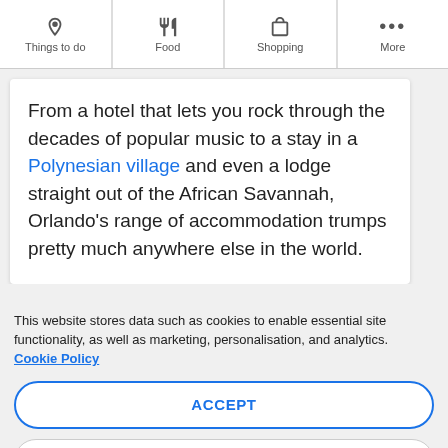Things to do | Food | Shopping | More
From a hotel that lets you rock through the decades of popular music to a stay in a Polynesian village and even a lodge straight out of the African Savannah, Orlando's range of accommodation trumps pretty much anywhere else in the world.
This website stores data such as cookies to enable essential site functionality, as well as marketing, personalisation, and analytics. Cookie Policy
ACCEPT